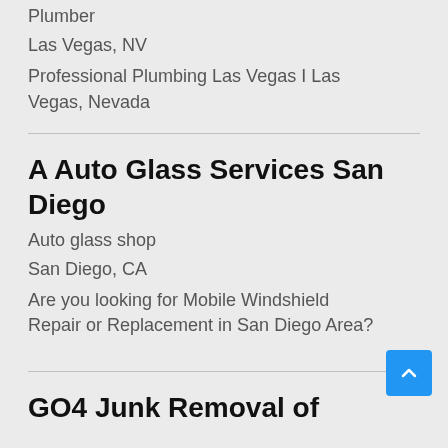Plumber
Las Vegas, NV
Professional Plumbing Las Vegas I Las Vegas, Nevada
A Auto Glass Services San Diego
Auto glass shop
San Diego, CA
Are you looking for Mobile Windshield Repair or Replacement in San Diego Area?
GO4 Junk Removal of